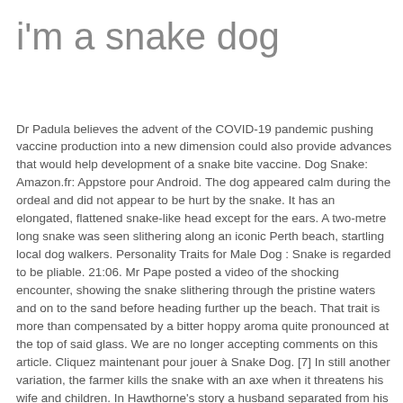i'm a snake dog
Dr Padula believes the advent of the COVID-19 pandemic pushing vaccine production into a new dimension could also provide advances that would help development of a snake bite vaccine. Dog Snake: Amazon.fr: Appstore pour Android. The dog appeared calm during the ordeal and did not appear to be hurt by the snake. It has an elongated, flattened snake-like head except for the ears. A two-metre long snake was seen slithering along an iconic Perth beach, startling local dog walkers. Personality Traits for Male Dog : Snake is regarded to be pliable. 21:06. Mr Pape posted a video of the shocking encounter, showing the snake slithering through the pristine waters and on to the sand before heading further up the beach. That trait is more than compensated by a bitter hoppy aroma quite pronounced at the top of said glass. We are no longer accepting comments on this article. Cliquez maintenant pour jouer à Snake Dog. [7] In still another variation, the farmer kills the snake with an axe when it threatens his wife and children. In Hawthorne's story a husband separated from his wife, but still dwelling upon her, becomes